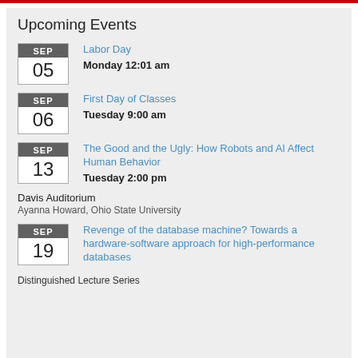Upcoming Events
SEP 05 | Labor Day | Monday 12:01 am
SEP 06 | First Day of Classes | Tuesday 9:00 am
SEP 13 | The Good and the Ugly: How Robots and AI Affect Human Behavior | Tuesday 2:00 pm
Davis Auditorium
Ayanna Howard, Ohio State University
SEP 19 | Revenge of the database machine? Towards a hardware-software approach for high-performance databases
Distinguished Lecture Series